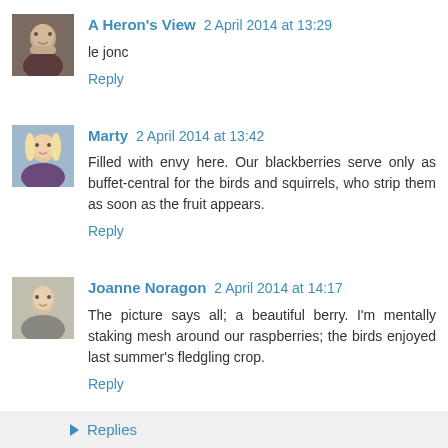[Figure (photo): Avatar photo of A Heron's View commenter - man with gray beard]
A Heron's View 2 April 2014 at 13:29
le jonc
Reply
[Figure (photo): Avatar photo of Marty commenter - blonde woman]
Marty 2 April 2014 at 13:42
Filled with envy here. Our blackberries serve only as buffet-central for the birds and squirrels, who strip them as soon as the fruit appears.
Reply
[Figure (photo): Avatar photo of Joanne Noragon commenter]
Joanne Noragon 2 April 2014 at 14:17
The picture says all; a beautiful berry. I'm mentally staking mesh around our raspberries; the birds enjoyed last summer's fledgling crop.
Reply
Replies